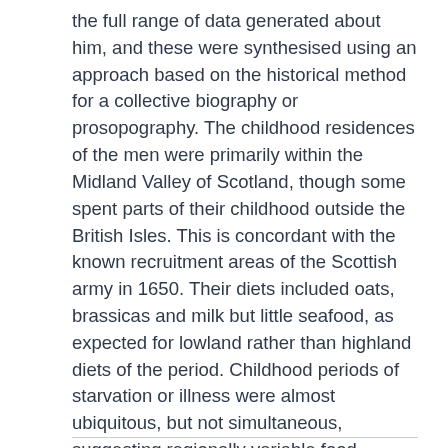the full range of data generated about him, and these were synthesised using an approach based on the historical method for a collective biography or prosopography. The childhood residences of the men were primarily within the Midland Valley of Scotland, though some spent parts of their childhood outside the British Isles. This is concordant with the known recruitment areas of the Scottish army in 1650. Their diets included oats, brassicas and milk but little seafood, as expected for lowland rather than highland diets of the period. Childhood periods of starvation or illness were almost ubiquitous, but not simultaneous, suggesting regionally variable food shortages in the 1620s and 1630s. It is likely there was widespread low-level scurvy, ameliorating in later years of life, which suggests historically unrecorded shortages of fruit and vegetables in the early 1640s. Almost all men were exposed to burnt plant matter, probably as inhaled soot, and this may relate to the high proportion of them with of sinusitis. Interpersonal violence causing skeletal trauma was rare.